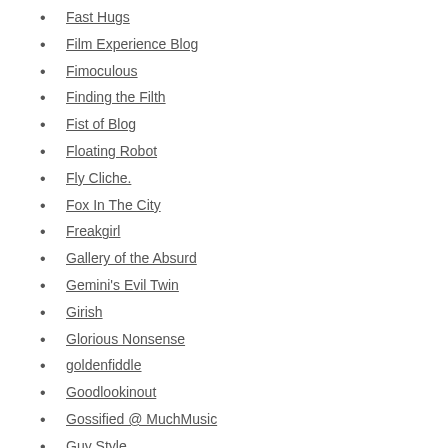Fast Hugs
Film Experience Blog
Fimoculous
Finding the Filth
Fist of Blog
Floating Robot
Fly Cliche.
Fox In The City
Freakgirl
Gallery of the Absurd
Gemini's Evil Twin
Girish
Glorious Nonsense
goldenfiddle
Goodlookinout
Gossified @ MuchMusic
Guy Style
Guytv Blog